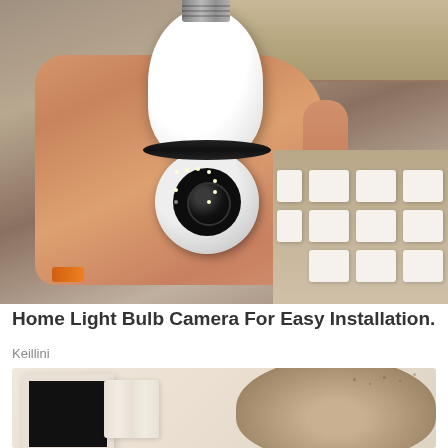[Figure (photo): A hand holding a white light bulb security camera with a circular camera head featuring multiple LED lights around a central lens, with a screw-in bulb base at the top. Background shows a brown wooden surface and boxes of packaged cameras.]
Home Light Bulb Camera For Easy Installation.
Keillini
[Figure (photo): Partial view of a room with a black-faced electric heater in a white frame on the left and a fluffy beige/brown decorative fur item on the right, against a warm beige background.]